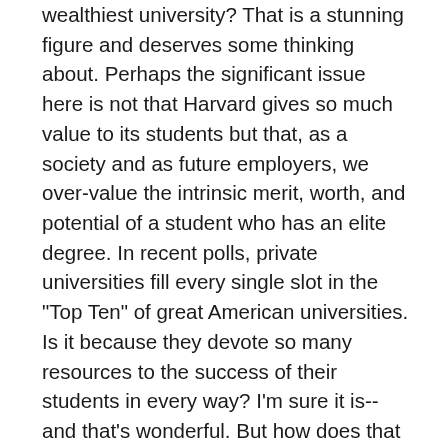wealthiest university?  That is a stunning figure and deserves some thinking about.   Perhaps the significant issue here is not that Harvard gives so much value to its students but that, as a society and as future employers, we over-value the intrinsic merit, worth, and potential of a student who has an elite degree. In recent polls, private universities fill every single slot in the "Top Ten" of great American universities.  Is it because they devote so many resources to the success of their students in every way?  I'm sure it is--and that's wonderful.  But how does that kind of attending to student success correspond with Pinker's and Deresiewicz's lament about "the trouble with Harvard" (certainly a First World Problem if ever there was one)?
What if the issue isn't what Harvard can and does do brilliantly but what, for the students who do not go to elite schools, they must do for themselves:  ensure their own success.   If they can succed on 1/20th of the resources, what does that say about their character, stamina, native intelligence, aptitude, and fighting can-do spirit?  When one